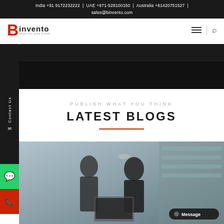India +91 9172232222 | UAE +971-528100150 | Australia +61420751527 | sales@binvento.com
[Figure (logo): Binvento logo with red B and black invento text]
PUBLISH WHAT YOU THINK
LATEST BLOGS
[Figure (photo): Two people looking at a laptop or device together in an office/cafe setting, blurred background with shelves]